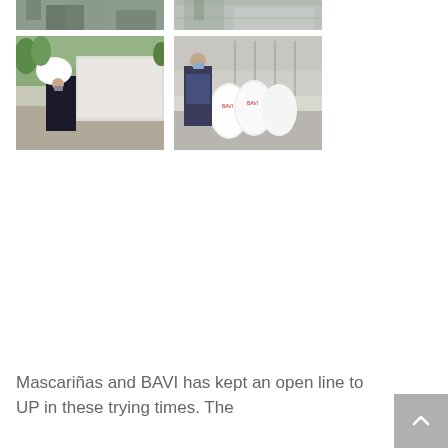[Figure (photo): Partial top view of a photo (top cropped) showing an outdoor scene, left panel]
[Figure (photo): Partial top view of a photo (top cropped) showing an outdoor scene, right panel]
[Figure (photo): Person carrying large white bags from a truck, outdoor setting with trees]
[Figure (photo): Person in protective gear standing next to several large white bags indoors]
Mascariñas and BAVI has kept an open line to UP in these trying times. The